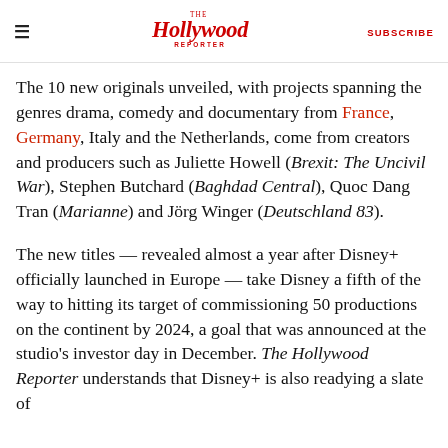The Hollywood Reporter | SUBSCRIBE
The 10 new originals unveiled, with projects spanning the genres drama, comedy and documentary from France, Germany, Italy and the Netherlands, come from creators and producers such as Juliette Howell (Brexit: The Uncivil War), Stephen Butchard (Baghdad Central), Quoc Dang Tran (Marianne) and Jörg Winger (Deutschland 83).
The new titles — revealed almost a year after Disney+ officially launched in Europe — take Disney a fifth of the way to hitting its target of commissioning 50 productions on the continent by 2024, a goal that was announced at the studio's investor day in December. The Hollywood Reporter understands that Disney+ is also readying a slate of